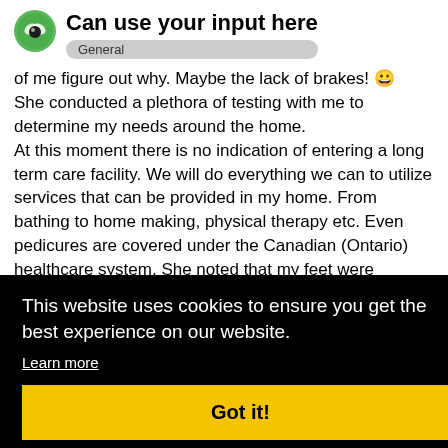Can use your input here
General
of me figure out why. Maybe the lack of brakes! 😀
She conducted a plethora of testing with me to determine my needs around the home.
At this moment there is no indication of entering a long term care facility. We will do everything we can to utilize services that can be provided in my home. From bathing to home making, physical therapy etc. Even pedicures are covered under the Canadian (Ontario) healthcare system. She noted that my feet were neglected due to the simple fact that I
e as
n.
t
e. The
vided
ith the
[Figure (screenshot): Cookie consent banner with black background. Text: 'This website uses cookies to ensure you get the best experience on our website.' with 'Learn more' link and yellow 'Got it!' button.]
mirror those of a care facility.
4